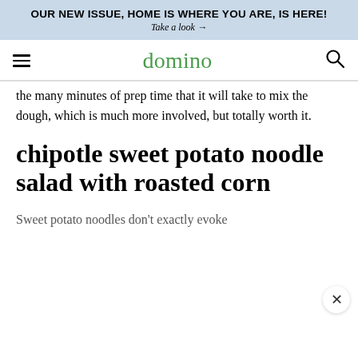OUR NEW ISSUE, HOME IS WHERE YOU ARE, IS HERE!
Take a look →
domino
the many minutes of prep time that it will take to mix the dough, which is much more involved, but totally worth it.
chipotle sweet potato noodle salad with roasted corn
Sweet potato noodles don't exactly evoke